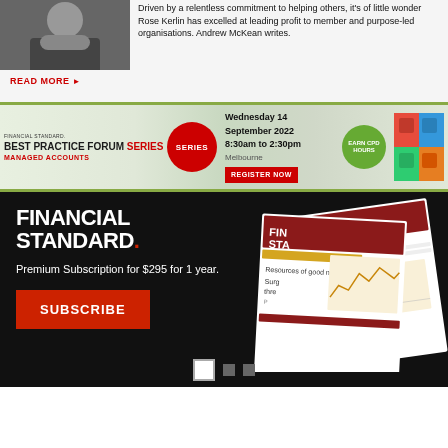[Figure (photo): Portrait photo of a person in dark clothing, cropped at top]
Driven by a relentless commitment to helping others, it's of little wonder Rose Kerlin has excelled at leading profit to member and purpose-led organisations. Andrew McKean writes.
READ MORE ▶
[Figure (infographic): Financial Standard Best Practice Forum Series - Managed Accounts banner. Wednesday 14 September 2022, 8:30am to 2:30pm, Melbourne. Register Now button. Earn CPD Hours green circle. Colourful puzzle pieces image.]
[Figure (infographic): Financial Standard Premium Subscription advertisement. Text: FINANCIAL STANDARD. Premium Subscription for $295 for 1 year. SUBSCRIBE button. Newspaper/magazine image on right side. Pagination dots at bottom.]